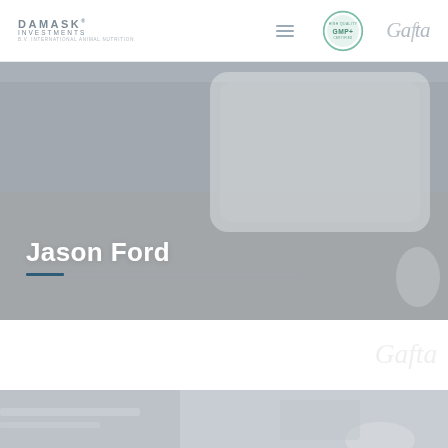DAMASK INVESTMENTS | GMP+ | Gafta
[Figure (photo): Hero background image of computer/laptop on a wooden desk, gray overlay with name 'Jason Ford' overlaid in white text with blue and gray underline]
Jason Ford
[Figure (photo): Bottom strip showing partial view of a desk/workspace image, partially visible below the fold]